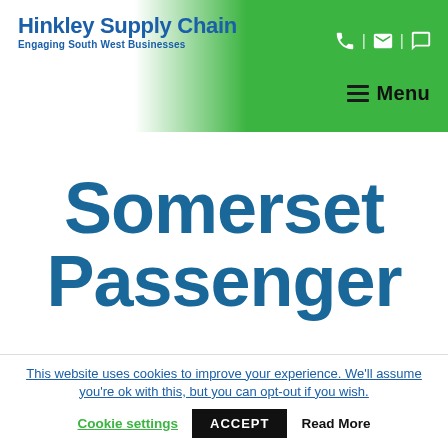Hinkley Supply Chain — Engaging South West Businesses
Somerset Passenger
This website uses cookies to improve your experience. We'll assume you're ok with this, but you can opt-out if you wish.
Cookie settings | ACCEPT | Read More